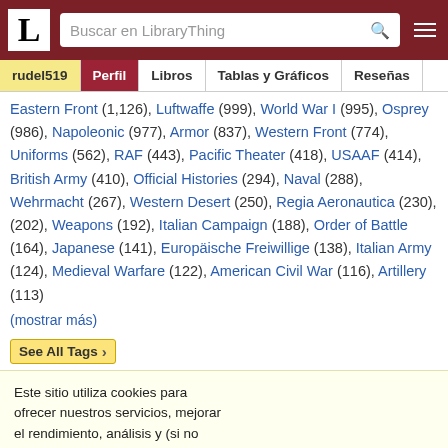LibraryThing - Buscar en LibraryThing
rudel519 | Perfil | Libros | Tablas y Gráficos | Reseñas
Eastern Front (1,126), Luftwaffe (999), World War I (995), Osprey (986), Napoleonic (977), Armor (837), Western Front (774), Uniforms (562), RAF (443), Pacific Theater (418), USAAF (414), British Army (410), Official Histories (294), Naval (288), Wehrmacht (267), Western Desert (250), Regia Aeronautica (230), (202), Weapons (192), Italian Campaign (188), Order of Battle (164), Japanese (141), Europäische Freiwillige (138), Italian Army (124), Medieval Warfare (122), American Civil War (116), Artillery (113)
(mostrar más)
See All Tags
Este sitio utiliza cookies para ofrecer nuestros servicios, mejorar el rendimiento, análisis y (si no estás registrado) publicidad. Al usar LibraryThing reconoces que has leído y comprendido nuestros Términos de Servicio y Política de Privacidad. El uso del sitio y de los servicios está sujeto a estas políticas y términos.
Estoy de acuerdo